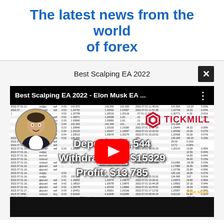The latest news from the world of forex
[Figure (screenshot): YouTube video thumbnail titled 'Best Scalping EA 2022 - Elon Musk EA...' showing a forex trading statement with Tickmill branding, a person's photo, and overlaid text: Deposit: $1,544 | Withdrawal: $15329 | Profit: $13,785. A red YouTube play button is centered on the video.]